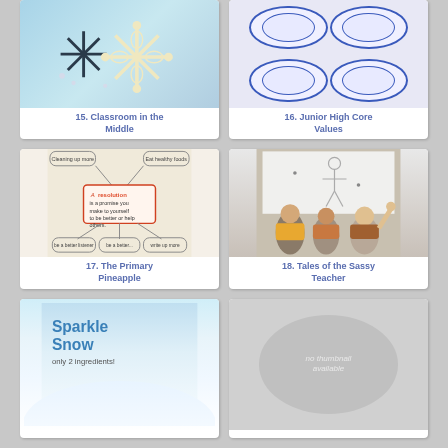[Figure (photo): Paper quilled snowflakes on blue background]
15. Classroom in the Middle
[Figure (photo): Blue and white decorative plates arranged in a grid]
16. Junior High Core Values
[Figure (photo): Anchor chart defining resolution with speech bubbles]
17. The Primary Pineapple
[Figure (photo): Children writing on a whiteboard]
18. Tales of the Sassy Teacher
[Figure (photo): Sparkle Snow craft with only 2 ingredients text]
[Figure (photo): No thumbnail available placeholder]